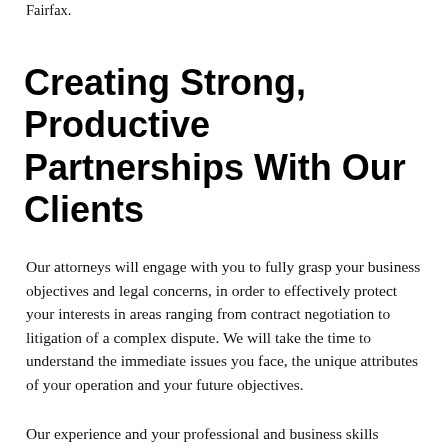Fairfax.
Creating Strong, Productive Partnerships With Our Clients
Our attorneys will engage with you to fully grasp your business objectives and legal concerns, in order to effectively protect your interests in areas ranging from contract negotiation to litigation of a complex dispute. We will take the time to understand the immediate issues you face, the unique attributes of your operation and your future objectives.
Our experience and your professional and business skills